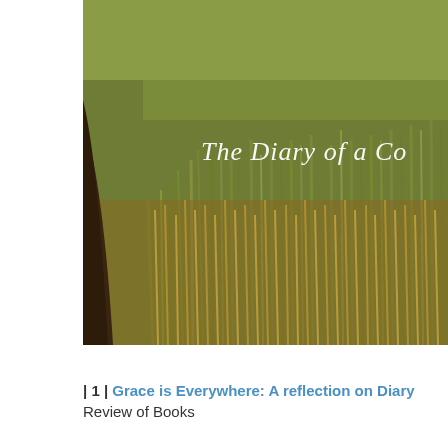[Figure (photo): Photograph of tall grass field with a winding dirt path, warm golden-green tones, with italic white text overlay reading 'The Diary of a Co...' (book cover image, partially cropped)]
| 1 | Grace is Everywhere: A reflection on Diary... Review of Books